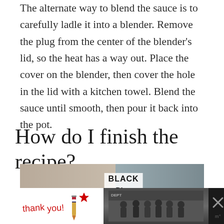The alternate way to blend the sauce is to carefully ladle it into a blender. Remove the plug from the center of the blender's lid, so the heat has a way out. Place the cover on the blender, then cover the hole in the lid with a kitchen towel. Blend the sauce until smooth, then pour it back into the pot.
How do I finish the recipe?
[Figure (photo): Partial photo showing a white mug or container with the word BLACK visible, alongside a dark metallic container, photographed from above]
[Figure (infographic): Advertisement banner: Thank you message with American flag pencil illustration and firefighters photo promoting Operation Gratitude, with close button and app icon]